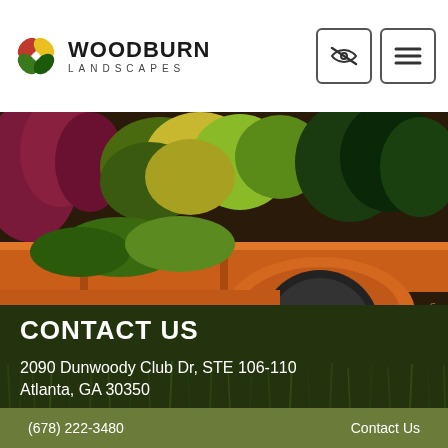[Figure (logo): Woodburn Landscapes logo with four-petal flower icon in red, yellow, green, and dark green colors, alongside the text WOODBURN LANDSCAPES]
[Figure (photo): Orange utility trailer loaded with green plants and shrubs, showing the trailer bed, orange fender, and a large black tire on the right side]
CONTACT US
2090 Dunwoody Club Dr, STE 106-110
Atlanta, GA 30350
(678) 222-3480    Contact Us